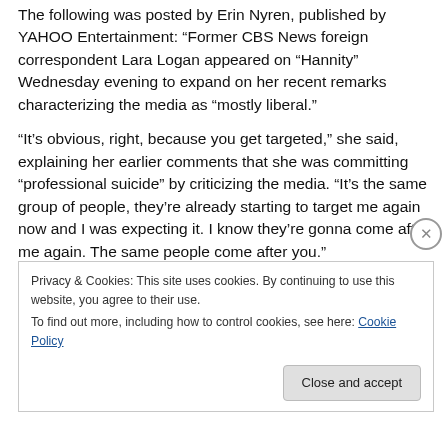The following was posted by Erin Nyren, published by YAHOO Entertainment: “Former CBS News foreign correspondent Lara Logan appeared on “Hannity” Wednesday evening to expand on her recent remarks characterizing the media as “mostly liberal.”
“It’s obvious, right, because you get targeted,” she said, explaining her earlier comments that she was committing “professional suicide” by criticizing the media. “It’s the same group of people, they’re already starting to target me again now and I was expecting it. I know they’re gonna come after me again. The same people come after you.”
Privacy & Cookies: This site uses cookies. By continuing to use this website, you agree to their use.
To find out more, including how to control cookies, see here: Cookie Policy
Close and accept